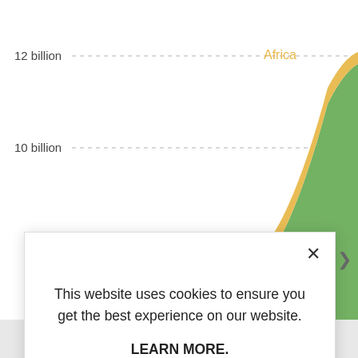[Figure (area-chart): Partial area chart showing world population growth by region. Y-axis labels visible: 12 billion, 10 billion, 8, 6, 4, 2. An area in green and gold/orange is visible in the upper right representing population growth including Africa (labeled in gold/orange).]
This website uses cookies to ensure you get the best experience on our website.

LEARN MORE.

ACCEPT COOKIES